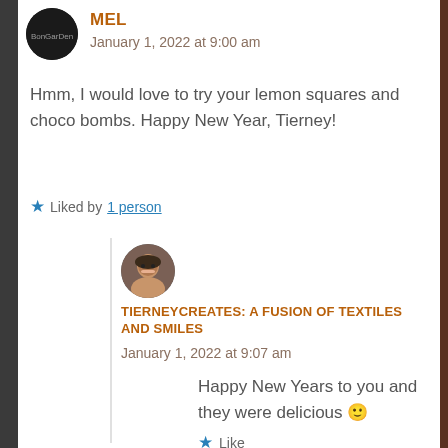MEL
January 1, 2022 at 9:00 am
Hmm, I would love to try your lemon squares and choco bombs. Happy New Year, Tierney!
★ Liked by 1 person
TIERNEYCREATES: A FUSION OF TEXTILES AND SMILES
January 1, 2022 at 9:07 am
Happy New Years to you and they were delicious 🙂
★ Like